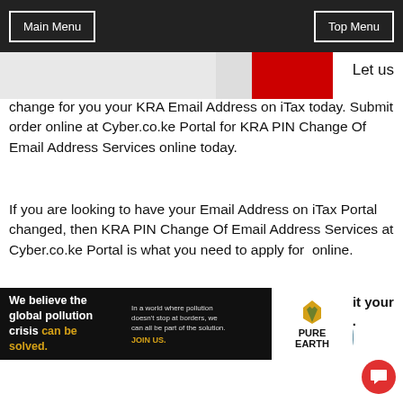Main Menu | Top Menu
[Figure (photo): Banner image with red and white design]
Let us change for you your KRA Email Address on iTax today. Submit order online at Cyber.co.ke Portal for KRA PIN Change Of Email Address Services online today.
If you are looking to have your Email Address on iTax Portal changed, then KRA PIN Change Of Email Address Services at Cyber.co.ke Portal is what you need to apply for  online.
Click on the submit application button below to submit your KRA PIN Change Of Email Address order online.
[Figure (other): Submit Application button - blue-grey rounded rectangle]
[Figure (other): Pure Earth advertisement banner: We believe the global pollution crisis can be solved. In a world where pollution doesn't stop at borders, we can all be part of the solution. JOIN US.]